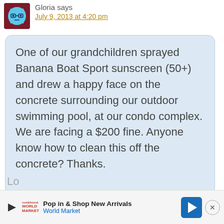[Figure (illustration): Avatar icon showing a blue cartoon monster/robot face with glasses on a dark red/maroon square background]
Gloria says
July 9, 2013 at 4:20 pm
One of our grandchildren sprayed Banana Boat Sport sunscreen (50+) and drew a happy face on the concrete surrounding our outdoor swimming pool, at our condo complex. We are facing a $200 fine. Anyone know how to clean this off the concrete? Thanks.
[Figure (screenshot): Advertisement bar for World Market: Pop in & Shop New Arrivals with a blue navigation arrow icon and an X close button]